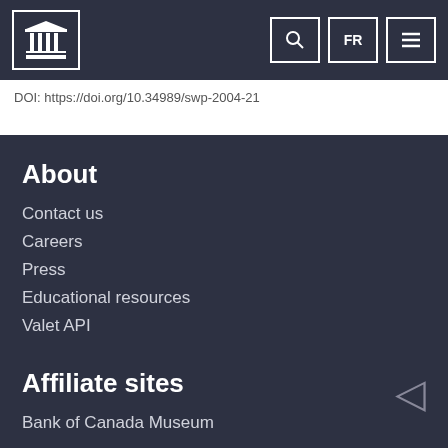Bank of Canada navigation header with logo, search, FR language toggle, and menu buttons
DOI: https://doi.org/10.34989/swp-2004-21
About
Contact us
Careers
Press
Educational resources
Valet API
Affiliate sites
Bank of Canada Museum